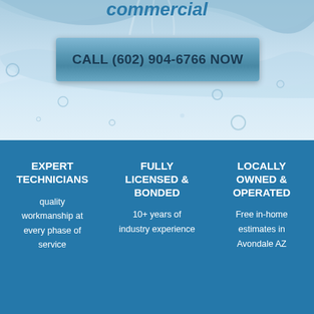[Figure (photo): Blue water splash/bubbles background image in top portion of page]
commercial
CALL (602) 904-6766 NOW
EXPERT TECHNICIANS
quality workmanship at every phase of service
FULLY LICENSED & BONDED
10+ years of industry experience
LOCALLY OWNED & OPERATED
Free in-home estimates in Avondale AZ